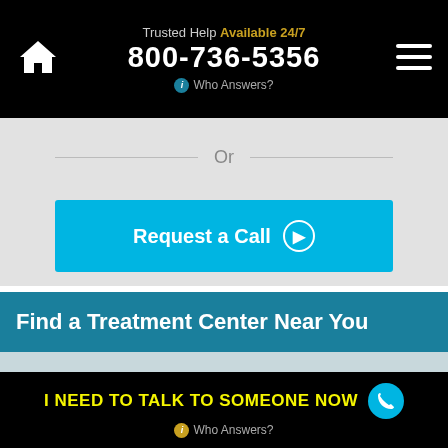Trusted Help Available 24/7 800-736-5356 Who Answers?
Or
Request a Call
Find a Treatment Center Near You
[Figure (photo): Interior room photo showing a bright modern room with large windows overlooking ocean, white walls, and a blue painting]
I NEED TO TALK TO SOMEONE NOW  Who Answers?